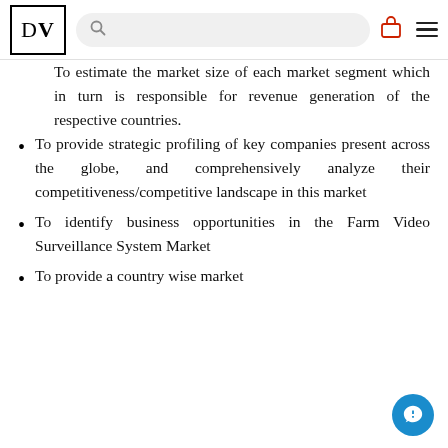DV [logo] [search bar] [cart icon] [menu icon]
To estimate the market size of each market segment which in turn is responsible for revenue generation of the respective countries.
To provide strategic profiling of key companies present across the globe, and comprehensively analyze their competitiveness/competitive landscape in this market
To identify business opportunities in the Farm Video Surveillance System Market
To provide a country wise market